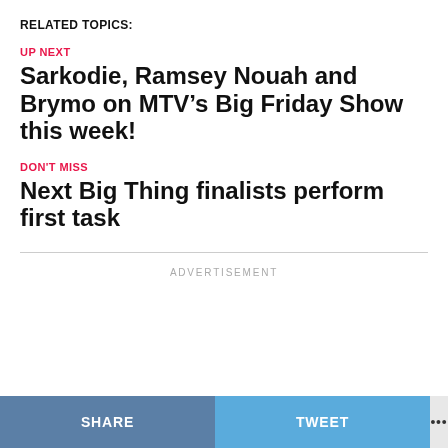RELATED TOPICS:
UP NEXT
Sarkodie, Ramsey Nouah and Brymo on MTV’s Big Friday Show this week!
DON'T MISS
Next Big Thing finalists perform first task
ADVERTISEMENT
SHARE   TWEET   •••